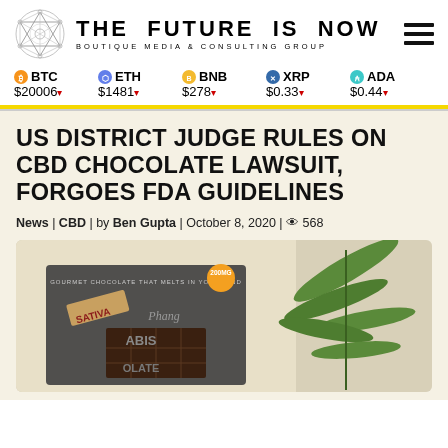THE FUTURE IS NOW | BOUTIQUE MEDIA & CONSULTING GROUP
BTC $20006▾  ETH $1481▾  BNB $278▾  XRP $0.33▾  ADA $0.44▾
US DISTRICT JUDGE RULES ON CBD CHOCOLATE LAWSUIT, FORGOES FDA GUIDELINES
News | CBD | by Ben Gupta | October 8, 2020 | 568
[Figure (photo): CBD cannabis chocolate bar packaging (Phang brand, Sativa, 200mg) beside green cannabis leaves on a light background]